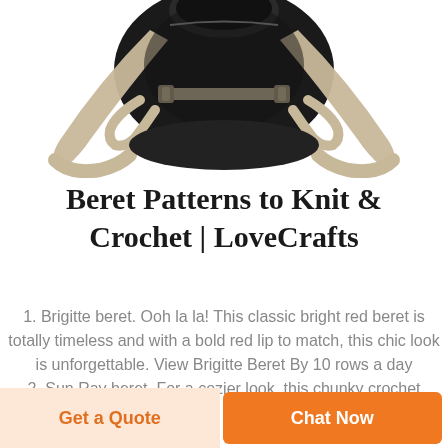[Figure (photo): Partial view of a beige/tan tactical backpack with straps and black body, photographed against a white background, cropped showing the lower portion.]
Beret Patterns to Knit & Crochet | LoveCrafts
1. Brigitte beret. Ooh la la! This classic bright red beret is totally timeless and with a bold red lip to match, this chic look is unforgettable. View Brigitte Beret By 10 rows a day 2. Sun Ray beret. For a cozier look, this chunky crochet
Get a Quote
Chat Now